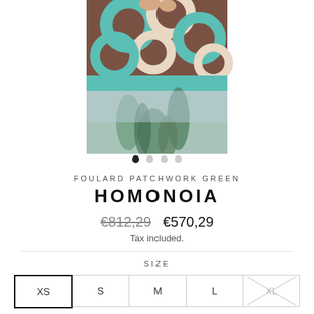[Figure (photo): Fashion product photo showing a person wearing a patchwork silk top with brown and teal circular/chain pattern and wide teal border, paired with botanical print wide-leg trousers]
FOULARD PATCHWORK GREEN
HOMONOIA
€812,29  €570,29
Tax included.
SIZE
XS  S  M  L  XL